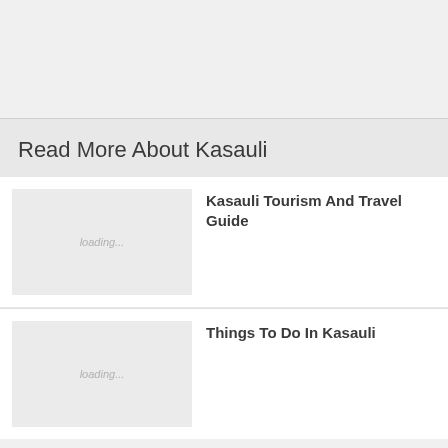Read More About Kasauli
[Figure (photo): Loading placeholder image for Kasauli Tourism And Travel Guide]
Kasauli Tourism And Travel Guide
[Figure (photo): Loading placeholder image for Things To Do In Kasauli]
Things To Do In Kasauli